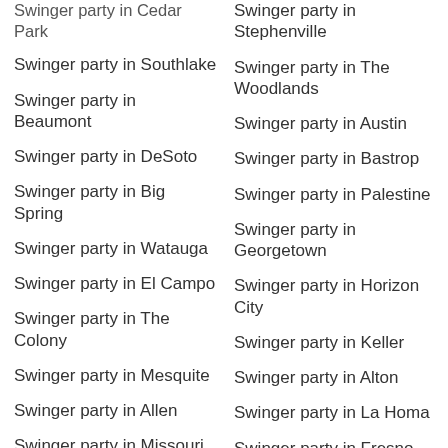Swinger party in Cedar Park
Swinger party in Southlake
Swinger party in Beaumont
Swinger party in DeSoto
Swinger party in Big Spring
Swinger party in Watauga
Swinger party in El Campo
Swinger party in The Colony
Swinger party in Mesquite
Swinger party in Allen
Swinger party in Missouri City
Swinger party in Cloverleaf
Swinger party in Sherman
Swinger party in Jacinto City
Swinger party in Mineral Wells
Swinger party in Stephenville
Swinger party in The Woodlands
Swinger party in Austin
Swinger party in Bastrop
Swinger party in Palestine
Swinger party in Georgetown
Swinger party in Horizon City
Swinger party in Keller
Swinger party in Alton
Swinger party in La Homa
Swinger party in Fresno
Swinger party in Baytown
Swinger party in Robstown